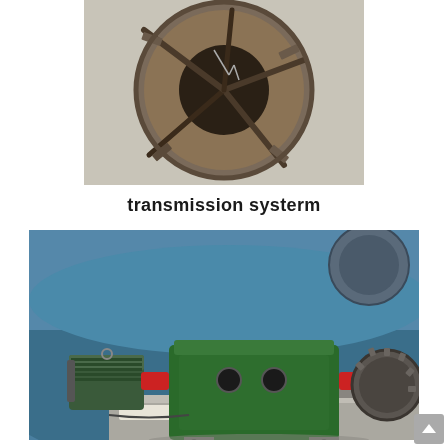[Figure (photo): Top-down view inside a large circular industrial drum or kiln showing internal metal blades/lifters arranged radially, viewed from the open end]
transmission systerm
[Figure (photo): Industrial transmission system showing a green gearbox with red shaft couplings mounted on a concrete base, connected to a blue electric motor on the left and a large gear wheel on the right, with a large blue industrial cylinder/drum in the background]